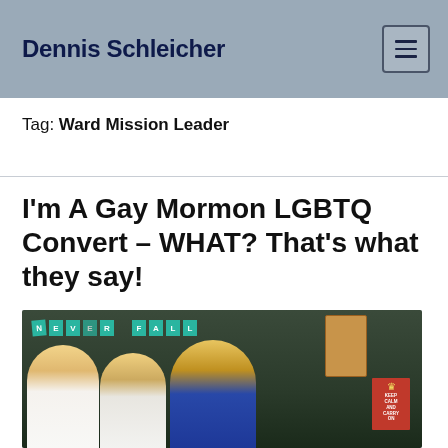Dennis Schleicher
Tag: Ward Mission Leader
I'm A Gay Mormon LGBTQ Convert – WHAT? That's what they say!
[Figure (photo): Group photo of three people in front of a dark chalkboard decorated with teal pennant banners spelling out 'NEVER FALL'. Two blonde women on the left side and a man with short blonde hair on the right, smiling widely. There is a cork board and a red 'Keep Calm' poster visible in the background.]